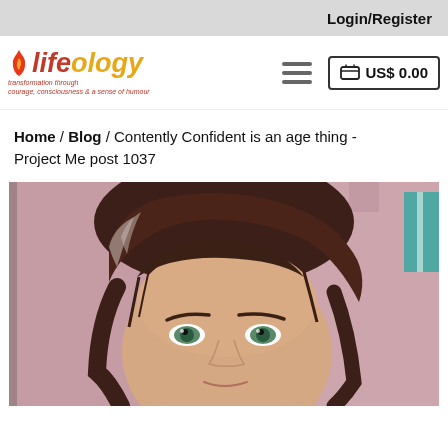Login/Register
[Figure (logo): Lifeology logo with flame icon. Red and yellow italic text reading 'lifeology'. Tagline: 'transformation through courage, consciousness & a sense of humour']
US$ 0.00
Home / Blog / Contently Confident is an age thing - Project Me post 1037
[Figure (photo): Close-up selfie photo of a woman with dark brown wavy hair with silver highlights, green eyes, looking at the camera. Background is pinkish/mauve wall.]